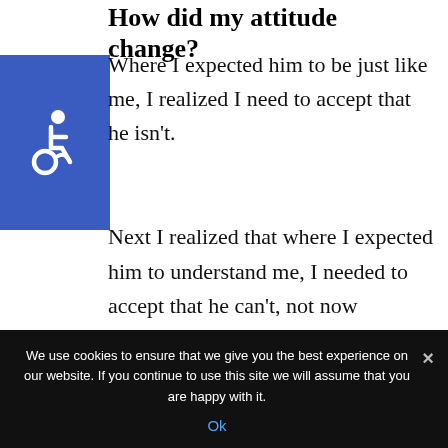How did my attitude change?
Where I expected him to be just like me, I realized I need to accept that he isn't.
[Figure (logo): Blue square accessibility icon with white wheelchair symbol]
Next I realized that where I expected him to understand me, I needed to accept that he can't, not now anyway.
And finally, where I expected him to be empathetic, I needed to learn to have
[Figure (other): Gray scroll-to-top button with upward chevron arrow]
We use cookies to ensure that we give you the best experience on our website. If you continue to use this site we will assume that you are happy with it.
Ok